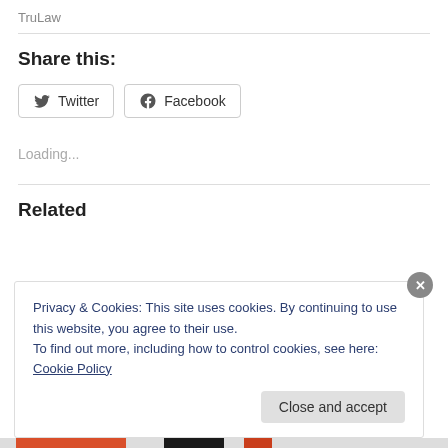TruLaw
Share this:
Twitter  Facebook
Loading...
Related
Privacy & Cookies: This site uses cookies. By continuing to use this website, you agree to their use.
To find out more, including how to control cookies, see here: Cookie Policy
Close and accept